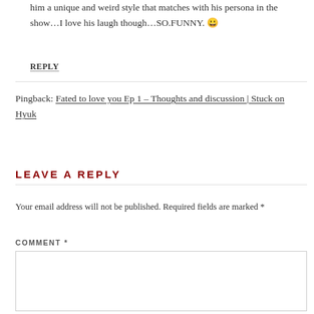him a unique and weird style that matches with his persona in the show…I love his laugh though…SO.FUNNY. 😀
REPLY
Pingback: Fated to love you Ep 1 – Thoughts and discussion | Stuck on Hyuk
LEAVE A REPLY
Your email address will not be published. Required fields are marked *
COMMENT *